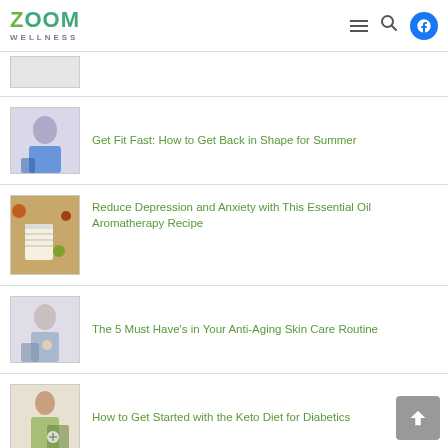ZOOM WELLNESS
[Figure (photo): Partial thumbnail of a woman in blue tank top, cropped at top]
Get Fit Fast: How to Get Back in Shape for Summer
[Figure (photo): Open book with herbs and essential oils on wooden table]
Reduce Depression and Anxiety with This Essential Oil Aromatherapy Recipe
[Figure (photo): Older woman applying skin cream, anti-aging skin care]
The 5 Must Have’s in Your Anti-Aging Skin Care Routine
[Figure (photo): Woman checking blood sugar level, keto diet for diabetics]
How to Get Started with the Keto Diet for Diabetics